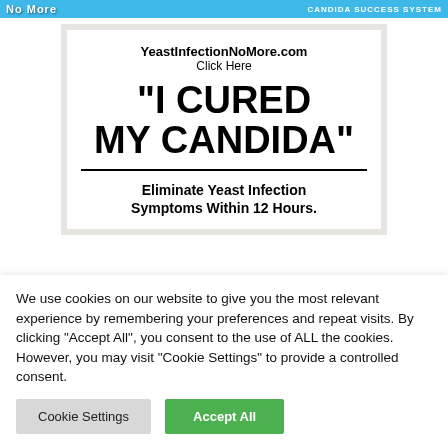No More | CANDIDA SUCCESS SYSTEM
[Figure (screenshot): Advertisement banner for YeastInfectionNoMore.com showing bold headline 'I CURED MY CANDIDA' with subtext 'Eliminate Yeast Infection Symptoms Within 12 Hours.']
We use cookies on our website to give you the most relevant experience by remembering your preferences and repeat visits. By clicking "Accept All", you consent to the use of ALL the cookies. However, you may visit "Cookie Settings" to provide a controlled consent.
Cookie Settings | Accept All